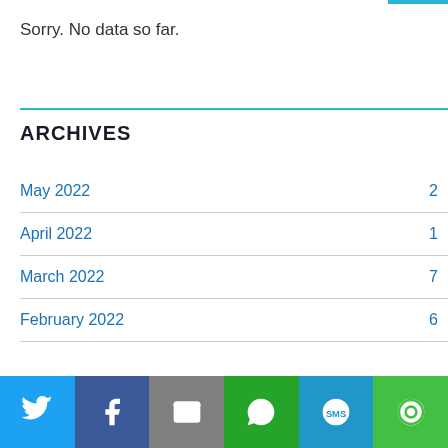Sorry. No data so far.
ARCHIVES
May 2022  2
April 2022  1
March 2022  7
February 2022  6
[Figure (infographic): Social share bar with Twitter, Facebook, Email, WhatsApp, SMS, and More buttons]